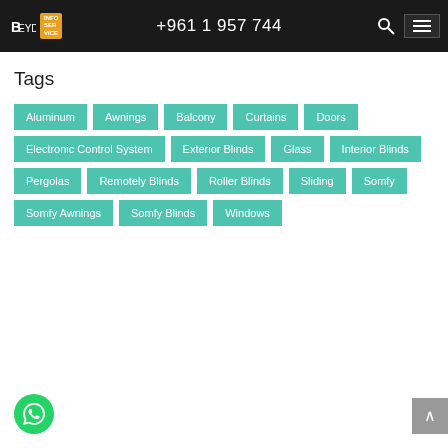BEYDOUN | +961 1 957 744
Tags
Aluminum
Awnings
Balcony
Curtains
Doors
Electronic Control System
Exterior Blinds
Glass
Interior Blinds
Pergolas
Remotely Blinds
Roller Blinds
Sliding
Somfy
Somfy Awnings
Somfy Blinds
Windows